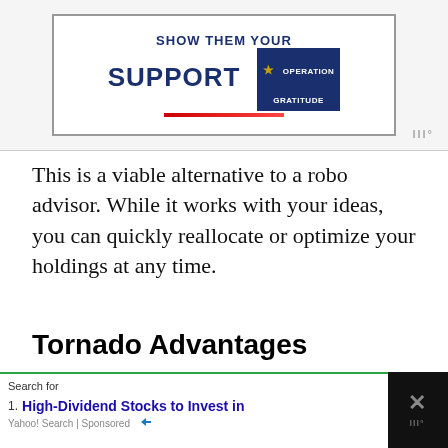[Figure (advertisement): Operation Gratitude advertisement banner with 'SHOW THEM YOUR SUPPORT' text and star logo]
This is a viable alternative to a robo advisor. While it works with your ideas, you can quickly reallocate or optimize your holdings at any time.
Tornado Advantages
No Account Minimums: Unlike many trading platforms, there are no account
[Figure (advertisement): Yahoo Search sponsored ad: Search for High-Dividend Stocks to Invest in]